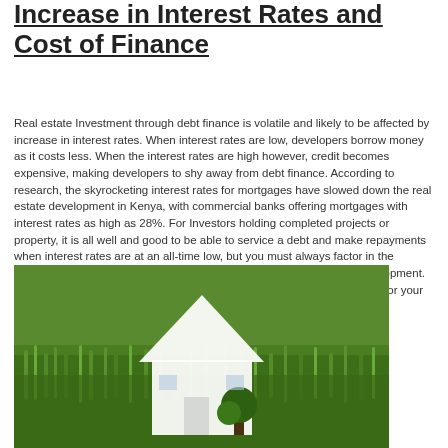Increase in Interest Rates and Cost of Finance
Real estate Investment through debt finance is volatile and likely to be affected by increase in interest rates. When interest rates are low, developers borrow money as it costs less. When the interest rates are high however, credit becomes expensive, making developers to shy away from debt finance. According to research, the skyrocketing interest rates for mortgages have slowed down the real estate development in Kenya, with commercial banks offering mortgages with interest rates as high as 28%. For Investors holding completed projects or property, it is all well and good to be able to service a debt and make repayments when interest rates are at an all-time low, but you must always factor in the possibility of the rise in the cost of debt finance over the life of your development. Increase in interest rates ultimately result in increased holding expenses for your real estate development project.
[Figure (photo): A white paper/cardboard house cutout shape placed on green grass, symbolizing real estate investment.]